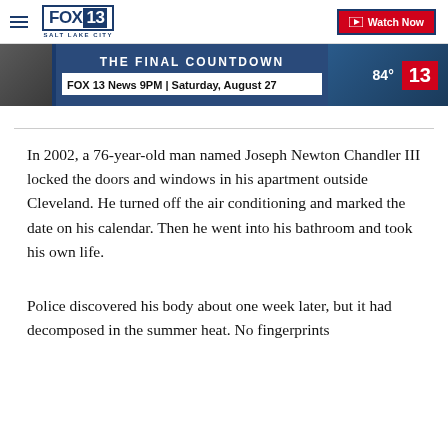FOX 13 SALT LAKE CITY — Watch Now
[Figure (screenshot): FOX 13 News video banner showing 'THE FINAL COUNTDOWN' with 'FOX 13 News 9PM | Saturday, August 27' text, temperature 84° and channel 13 badge on a dark blue background]
In 2002, a 76-year-old man named Joseph Newton Chandler III locked the doors and windows in his apartment outside Cleveland. He turned off the air conditioning and marked the date on his calendar. Then he went into his bathroom and took his own life.
Police discovered his body about one week later, but it had decomposed in the summer heat. No fingerprints